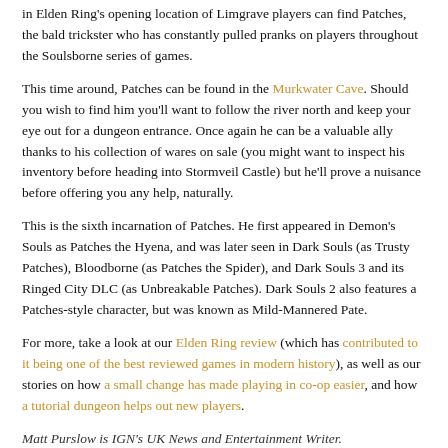in Elden Ring's opening location of Limgrave players can find Patches, the bald trickster who has constantly pulled pranks on players throughout the Soulsborne series of games.
This time around, Patches can be found in the Murkwater Cave. Should you wish to find him you'll want to follow the river north and keep your eye out for a dungeon entrance. Once again he can be a valuable ally thanks to his collection of wares on sale (you might want to inspect his inventory before heading into Stormveil Castle) but he'll prove a nuisance before offering you any help, naturally.
This is the sixth incarnation of Patches. He first appeared in Demon's Souls as Patches the Hyena, and was later seen in Dark Souls (as Trusty Patches), Bloodborne (as Patches the Spider), and Dark Souls 3 and its Ringed City DLC (as Unbreakable Patches). Dark Souls 2 also features a Patches-style character, but was known as Mild-Mannered Pate.
For more, take a look at our Elden Ring review (which has contributed to it being one of the best reviewed games in modern history), as well as our stories on how a small change has made playing in co-op easier, and how a tutorial dungeon helps out new players.
Matt Purslow is IGN's UK News and Entertainment Writer.